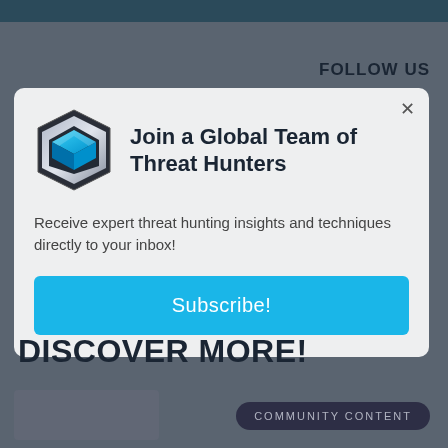FOLLOW US
[Figure (logo): Hexagonal silver and blue 3D icon logo for threat hunters]
Join a Global Team of Threat Hunters
Receive expert threat hunting insights and techniques directly to your inbox!
Subscribe!
DISCOVER MORE!
COMMUNITY CONTENT